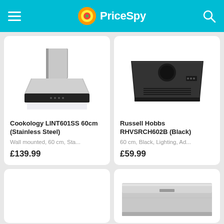PriceSpy
[Figure (photo): Cookology LINT601SS wall-mounted chimney cooker hood in stainless steel, viewed from front-side angle]
Cookology LINT601SS 60cm (Stainless Steel)
Wall mounted, 60 cm, Sta...
£139.99
[Figure (photo): Russell Hobbs RHVSRCH602B cooker hood in black, viewed from above/back angle showing underside panel]
Russell Hobbs RHVSRCH602B (Black)
60 cm, Black, Lighting, Ad...
£59.99
[Figure (photo): Partial product image (bottom left card, not visible)]
[Figure (photo): Partial stainless steel under-cabinet range hood visible at bottom of page]